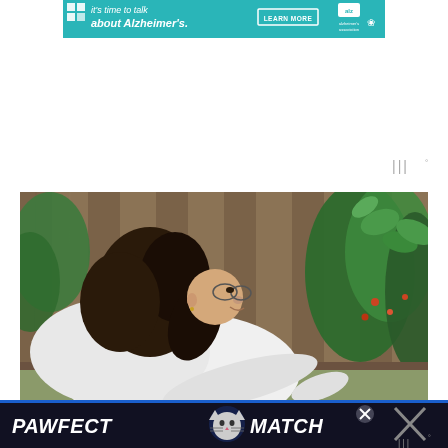[Figure (photo): Alzheimer's Association banner advertisement with teal background. Text reads: it's time to talk about Alzheimer's. with a LEARN MORE button and Alzheimer's association logo.]
[Figure (photo): Woman with dark curly hair wearing glasses and a white top, leaning forward to tend to garden plants against a wooden fence backdrop. Green leafy plants visible on the right side.]
[Figure (photo): PAWFECT MATCH advertisement banner on dark background with cat face icon, close button (X), and weather widget icon at bottom right.]